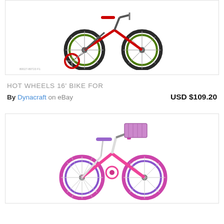[Figure (photo): Hot Wheels children's bike with training wheels, dark green/black/red color scheme, shown from side angle]
HOT WHEELS 16' BIKE FOR
By Dynacraft on eBay    USD $109.20
[Figure (photo): Girls' children's bicycle, white/pink/purple color scheme with basket on handlebars, shown from side angle]